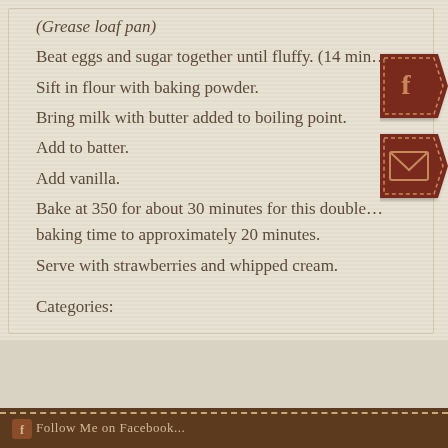(Grease loaf pan)
Beat eggs and sugar together until fluffy. (14 min…
Sift in flour with baking powder.
Bring milk with butter added to boiling point.
Add to batter.
Add vanilla.
Bake at 350 for about 30 minutes for this double… baking time to approximately 20 minutes.
Serve with strawberries and whipped cream.
Categories:
[Figure (infographic): Facebook share button (dark red ribbon/banner shape with white 'f' icon) and email/envelope button (dark red ribbon/banner shape with envelope icon) on the right side of the page.]
Follow Me on Facebook…